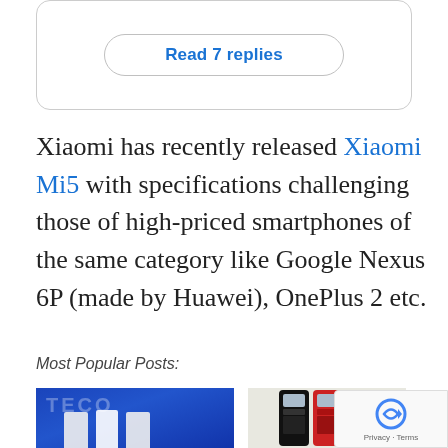[Figure (other): Rounded box with 'Read 7 replies' button in blue text]
Xiaomi has recently released Xiaomi Mi5 with specifications challenging those of high-priced smartphones of the same category like Google Nexus 6P (made by Huawei), OnePlus 2 etc.
Most Popular Posts:
[Figure (photo): Two thumbnail images side by side: left shows people on a blue stage, right shows Nokia 3310 phones in black, red, and yellow colors]
[Figure (other): reCAPTCHA badge with logo and Privacy·Terms text]